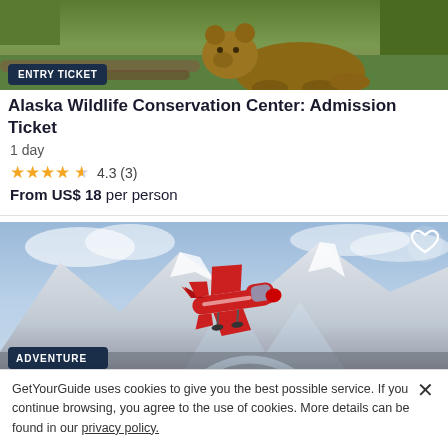[Figure (photo): Photo of a brown bear in green grassy terrain with logs]
ENTRY TICKET
Alaska Wildlife Conservation Center: Admission Ticket
1 day
4.3 (3)
From US$ 18 per person
[Figure (photo): A red bush plane flying over snowy mountain landscape with glaciers]
ADVENTURE
Talkeetna: Denali Experience Flight with Optional Landing
GetYourGuide uses cookies to give you the best possible service. If you continue browsing, you agree to the use of cookies. More details can be found in our privacy policy.